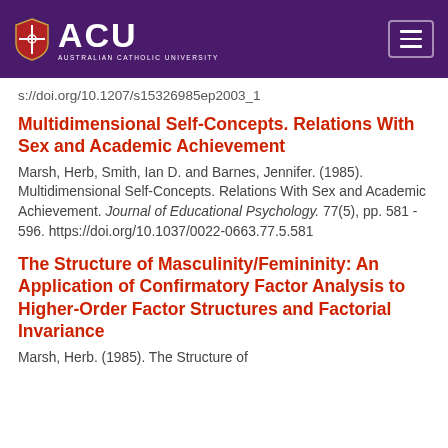[Figure (logo): ACU (Australian Catholic University) logo with shield icon on purple header background, with hamburger menu button on the right]
s://doi.org/10.1207/s15326985ep2003_1
Multidimensional Self-Concepts. Relations With Sex and Academic Achievement
Marsh, Herb, Smith, Ian D. and Barnes, Jennifer. (1985). Multidimensional Self-Concepts. Relations With Sex and Academic Achievement. Journal of Educational Psychology. 77(5), pp. 581 - 596. https://doi.org/10.1037/0022-0663.77.5.581
The Structure of Masculinity/Femininity: An Application of Confirmatory Factor Analysis to Higher-Order Factor Structures and Factorial Invariance
Marsh, Herb. (1985). The Structure of